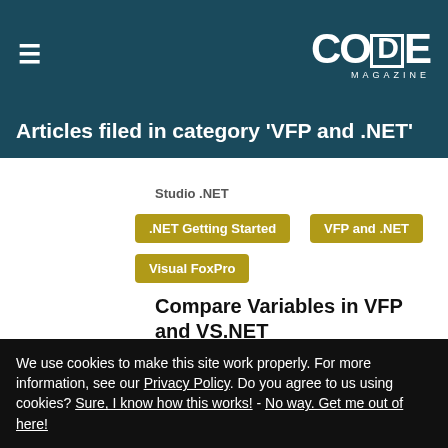CODE MAGAZINE
Articles filed in category 'VFP and .NET'
Studio .NET
.NET Getting Started
VFP and .NET
Visual FoxPro
Compare Variables in VFP and VS.NET
By: Claudio Lassala, Markus Egger
We use cookies to make this site work properly. For more information, see our Privacy Policy. Do you agree to us using cookies? Sure, I know how this works! - No way. Get me out of here!